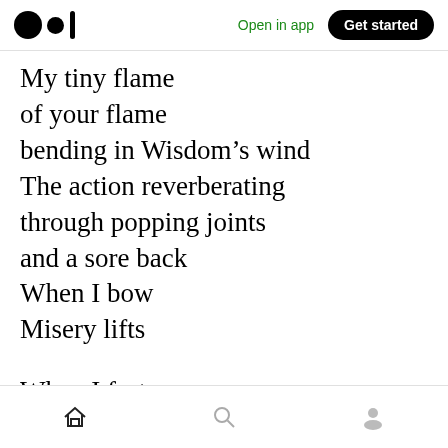Medium logo | Open in app | Get started
My tiny flame
of your flame
bending in Wisdom’s wind
The action reverberating
through popping joints
and a sore back
When I bow
Misery lifts

When I fast
What grace
My hungry soul
Home | Search | Profile